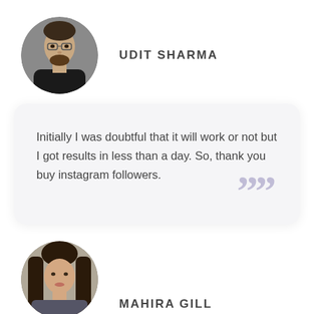[Figure (photo): Circular profile photo of a young man with beard and glasses, dark jacket]
UDIT SHARMA
Initially I was doubtful that it will work or not but I got results in less than a day. So, thank you buy instagram followers.
[Figure (photo): Circular profile photo of a woman with long hair, partially cropped]
MAHIRA GILL